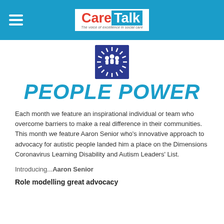Care Talk — The voice of excellence in social care
[Figure (logo): Dimensions organisation logo: blue square with white sunburst and three human figures icon]
PEOPLE POWER
Each month we feature an inspirational individual or team who overcome barriers to make a real difference in their communities. This month we feature Aaron Senior who's innovative approach to advocacy for autistic people landed him a place on the Dimensions Coronavirus Learning Disability and Autism Leaders' List.
Introducing...Aaron Senior
Role modelling great advocacy